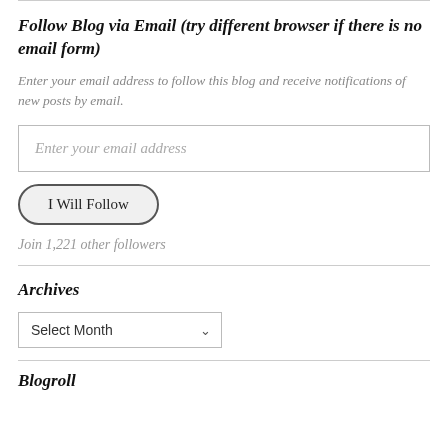Follow Blog via Email (try different browser if there is no email form)
Enter your email address to follow this blog and receive notifications of new posts by email.
Enter your email address
I Will Follow
Join 1,221 other followers
Archives
Select Month
Blogroll